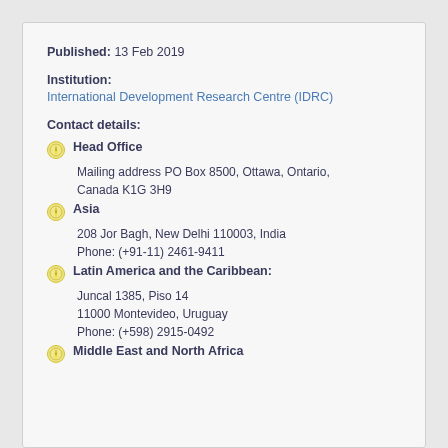Published: 13 Feb 2019
Institution:
International Development Research Centre (IDRC)
Contact details:
Head Office
Mailing address PO Box 8500, Ottawa, Ontario, Canada K1G 3H9
Asia
208 Jor Bagh, New Delhi 110003, India
Phone: (+91-11) 2461-9411
Latin America and the Caribbean:
Juncal 1385, Piso 14
11000 Montevideo, Uruguay
Phone: (+598) 2915-0492
Middle East and North Africa